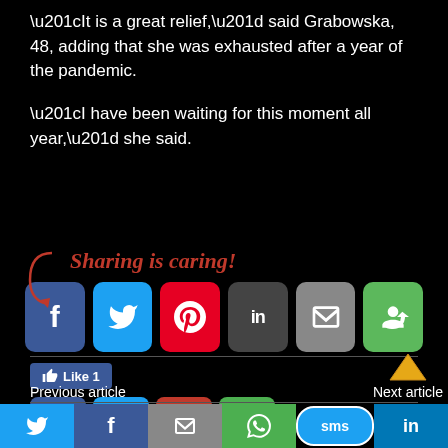“It is a great relief,” said Grabowska, 48, adding that she was exhausted after a year of the pandemic.
“I have been waiting for this moment all year,” she said.
[Figure (infographic): Sharing is caring! text with arrow and social media share buttons: Facebook, Twitter, Pinterest, LinkedIn, Email, and a recycle/share icon.]
[Figure (infographic): Like button showing Like 1, followed by small share buttons for Facebook, Twitter, Pinterest, and WhatsApp.]
Previous article
Next article
[Figure (infographic): Bottom navigation bar with Twitter, Facebook, Email, WhatsApp, SMS, and LinkedIn icons.]